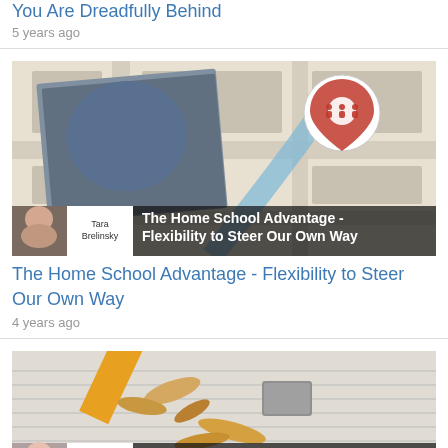You Are Dreadfully Behind
5 years ago
[Figure (photo): Thumbnail image for article 'The Home School Advantage - Flexibility to Steer Our Own Way' showing a family sitting in a car trunk with a map overlay and location pin icon, with author Tara Brelinsky photo and name overlaid at bottom]
The Home School Advantage - Flexibility to Steer Our Own Way
4 years ago
[Figure (photo): Thumbnail image for article '7 Strategies to Stabilize the School Year' showing a pencil being sharpened with shavings on lined paper, with author Christine Smitha photo and name overlaid at bottom]